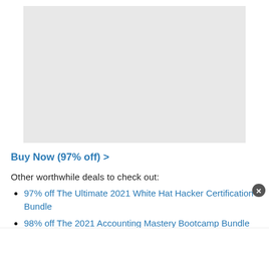[Figure (other): Gray placeholder image/screenshot area at top center of page]
Buy Now (97% off) >
Other worthwhile deals to check out:
97% off The Ultimate 2021 White Hat Hacker Certification Bundle
98% off The 2021 Accounting Mastery Bootcamp Bundle